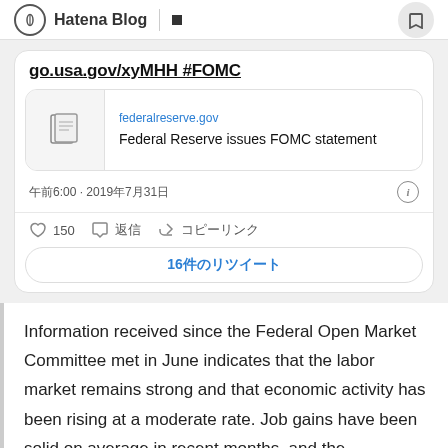Hatena Blog
go.usa.gov/xyMHH #FOMC
[Figure (screenshot): Link preview card for federalreserve.gov showing article titled 'Federal Reserve issues FOMC statement']
午前6:00 · 2019年7月31日
150 返信 コピーリンク
16件のリツイート
Information received since the Federal Open Market Committee met in June indicates that the labor market remains strong and that economic activity has been rising at a moderate rate. Job gains have been solid on average in recent months, and the